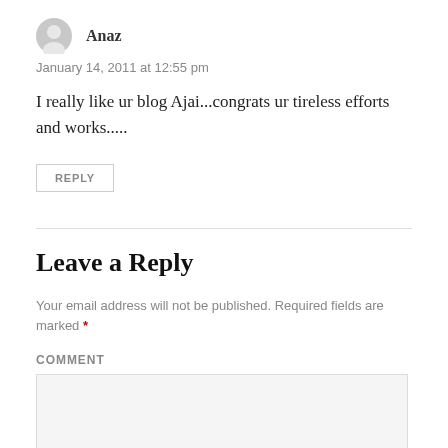Anaz
January 14, 2011 at 12:55 pm
I really like ur blog Ajai...congrats ur tireless efforts and works.....
REPLY
Leave a Reply
Your email address will not be published. Required fields are marked *
COMMENT